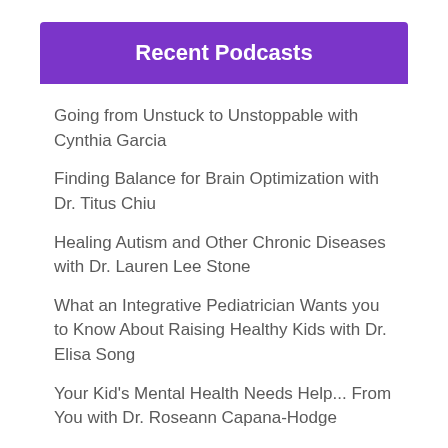Recent Podcasts
Going from Unstuck to Unstoppable with Cynthia Garcia
Finding Balance for Brain Optimization with Dr. Titus Chiu
Healing Autism and Other Chronic Diseases with Dr. Lauren Lee Stone
What an Integrative Pediatrician Wants you to Know About Raising Healthy Kids with Dr. Elisa Song
Your Kid's Mental Health Needs Help... From You with Dr. Roseann Capana-Hodge